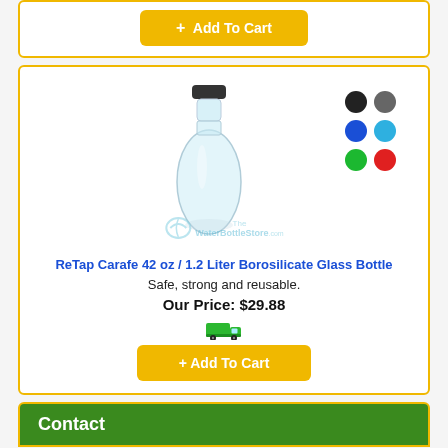[Figure (screenshot): Add To Cart button (yellow/gold) at top of page, partial product card cut off]
[Figure (photo): ReTap Carafe glass bottle with dark lid, watermark TheWaterBottleStore.com, color swatches (black, gray, dark blue, light blue, green, red)]
ReTap Carafe 42 oz / 1.2 Liter Borosilicate Glass Bottle
Safe, strong and reusable.
Our Price: $29.88
[Figure (illustration): Green truck shipping icon]
+ Add To Cart
Contact